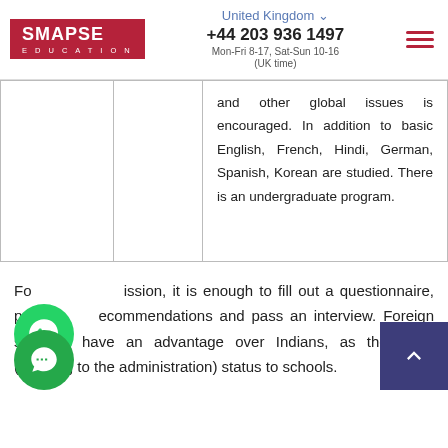SMAPSE EDUCATION | United Kingdom | +44 203 936 1497 | Mon-Fri 8-17, Sat-Sun 10-16 (UK time)
|  |  | and other global issues is encouraged. In addition to basic English, French, Hindi, German, Spanish, Korean are studied. There is an undergraduate program. |
For admission, it is enough to fill out a questionnaire, provide recommendations and pass an interview. Foreign students have an advantage over Indians, as they give (according to the administration) status to schools.